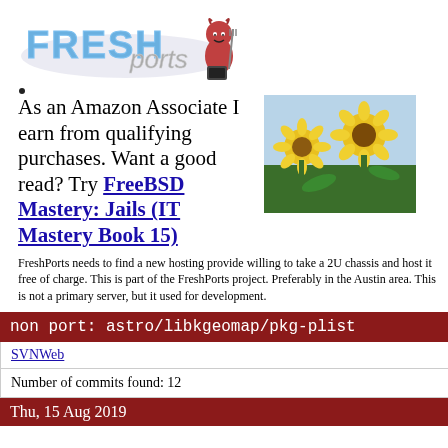[Figure (logo): FreshPorts logo with stylized 'FRESH' text in blue and 'ports' in italic gray, with a BSD devil mascot character holding a pitchfork]
As an Amazon Associate I earn from qualifying purchases. Want a good read? Try FreeBSD Mastery: Jails (IT Mastery Book 15)
[Figure (photo): Photo of sunflowers in a field against a blue sky]
FreshPorts needs to find a new hosting provide willing to take a 2U chassis and host it free of charge. This is part of the FreshPorts project. Preferably in the Austin area. This is not a primary server, but it used for development.
non port: astro/libkgeomap/pkg-plist
SVNWeb
Number of commits found: 12
Thu, 15 Aug 2019